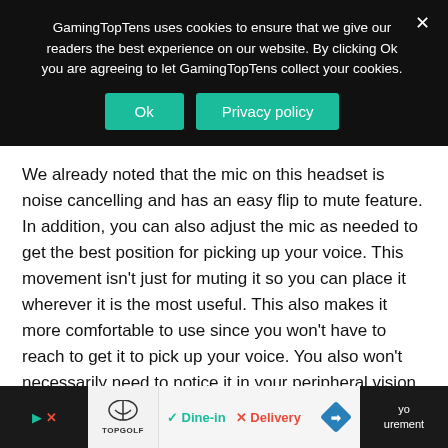GamingTopTens uses cookies to ensure that we give our readers the best experience on our website. By clicking Ok you are agreeing to let GamingTopTens collect your cookies.
We already noted that the mic on this headset is noise cancelling and has an easy flip to mute feature. In addition, you can also adjust the mic as needed to get the best position for picking up your voice. This movement isn't just for muting it so you can place it wherever it is the most useful. This also makes it more comfortable to use since you won't have to reach to get it to pick up your voice. You also won't necessarily need to notice it in your peripheral vision, since you can simply move it out of the way.